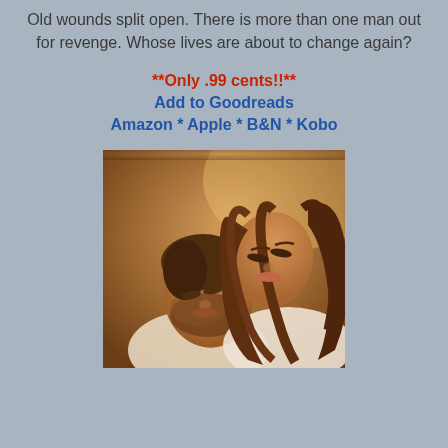Old wounds split open. There is more than one man out for revenge. Whose lives are about to change again?
**Only .99 cents!!**
Add to Goodreads
Amazon * Apple * B&N * Kobo
[Figure (photo): A romantic couple nearly kissing, woman with long brown hair, man with beard, warm bokeh background]